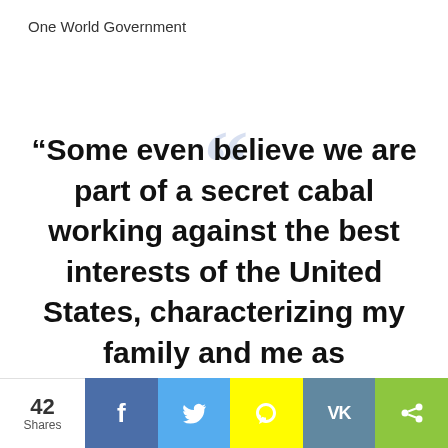One World Government
“Some even believe we are part of a secret cabal working against the best interests of the United States, characterizing my family and me as ‘internationalists’ and of conspiring with others around the world to build a more
[Figure (infographic): Social share bar with 42 shares count and buttons for Facebook, Twitter, Snapchat, VK, and a generic share icon]